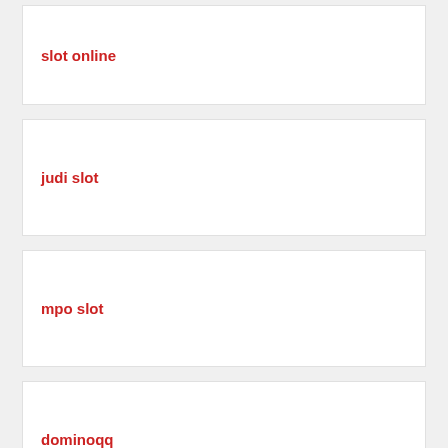slot online
judi slot
mpo slot
dominoqq